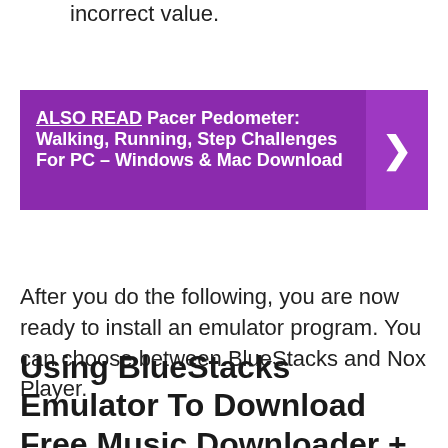incorrect value.
[Figure (infographic): Purple banner with 'ALSO READ' label and link text: Pacer Pedometer: Walking, Running, Step Challenges For PC – Windows & Mac Download, with a right arrow chevron on the right side.]
After you do the following, you are now ready to install an emulator program. You can choose between BlueStacks and Nox Player.
Using BlueStacks Emulator To Download Free Music Downloader + Mp3 Music